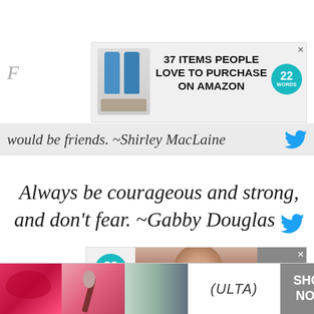[Figure (screenshot): Advertisement banner: 37 ITEMS PEOPLE LOVE TO PURCHASE ON AMAZON with blue product bottles image and 22 Words badge]
would be friends. ~Shirley MacLaine
Always be courageous and strong, and don't fear. ~Gabby Douglas
[Figure (screenshot): 22 Words advertisement banner with woman photo]
[Figure (screenshot): Ulta Beauty advertisement bar at bottom with makeup product images and SHOP NOW button]